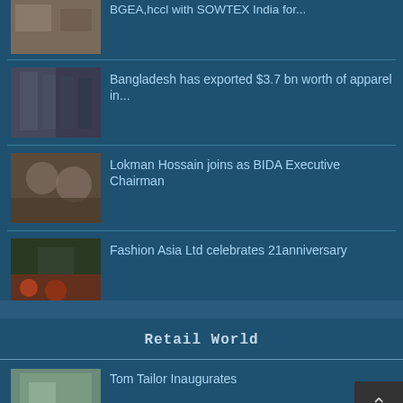[Figure (photo): News thumbnail: people at a trade event with SOWTEX India]
BGEA,hccl with SOWTEX India for...
[Figure (photo): News thumbnail: clothing/apparel hanging on rack]
Bangladesh has exported $3.7 bn worth of apparel in...
[Figure (photo): News thumbnail: Lokman Hossain at BIDA meeting]
Lokman Hossain joins as BIDA Executive Chairman
[Figure (photo): News thumbnail: Fashion Asia Ltd celebration event]
Fashion Asia Ltd celebrates 21anniversary
Retail World
[Figure (photo): News thumbnail: Tom Tailor inauguration]
Tom Tailor Inaugurates